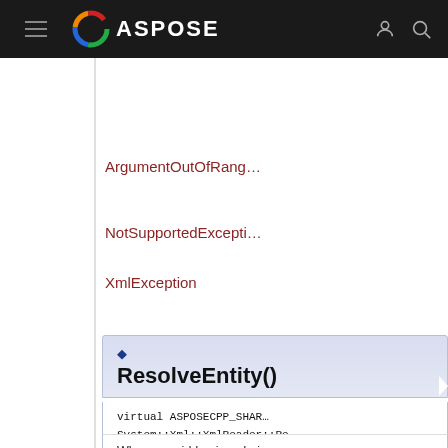ASPOSE
ArgumentOutOfRange...
NotSupportedException...
XmlException
ResolveEntity()
virtual ASPOSECPP_SHARED_... System::Xml::XmlReader::Re...
When overridden in a derived class, resolves EntityReference nodes.